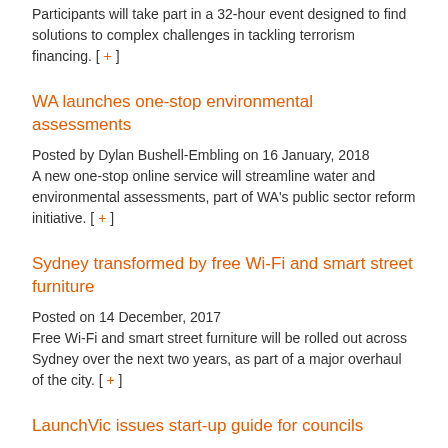Participants will take part in a 32-hour event designed to find solutions to complex challenges in tackling terrorism financing. [ + ]
WA launches one-stop environmental assessments
Posted by Dylan Bushell-Embling on 16 January, 2018
A new one-stop online service will streamline water and environmental assessments, part of WA's public sector reform initiative. [ + ]
Sydney transformed by free Wi-Fi and smart street furniture
Posted on 14 December, 2017
Free Wi-Fi and smart street furniture will be rolled out across Sydney over the next two years, as part of a major overhaul of the city. [ + ]
LaunchVic issues start-up guide for councils